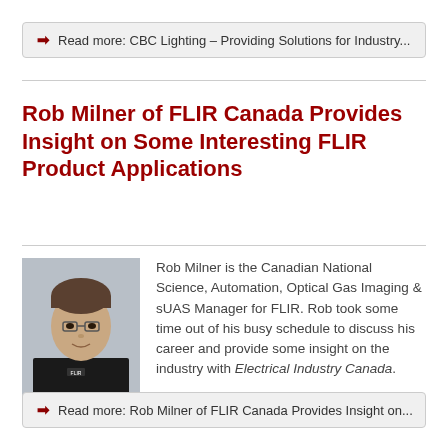Read more: CBC Lighting – Providing Solutions for Industry...
Rob Milner of FLIR Canada Provides Insight on Some Interesting FLIR Product Applications
[Figure (photo): Headshot portrait of Rob Milner, a man in a black shirt against a light gray background]
Rob Milner is the Canadian National Science, Automation, Optical Gas Imaging & sUAS Manager for FLIR. Rob took some time out of his busy schedule to discuss his career and provide some insight on the industry with Electrical Industry Canada.
Read more: Rob Milner of FLIR Canada Provides Insight on...